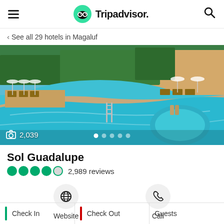Tripadvisor
< See all 29 hotels in Magaluf
[Figure (photo): Outdoor swimming pool at Sol Guadalupe hotel in Magaluf, with lounge chairs, umbrellas, and lush greenery surrounding the pool area. Photo counter shows 2,039 photos.]
Sol Guadalupe
2,989 reviews
Website
Call
Check In
Check Out
Guests